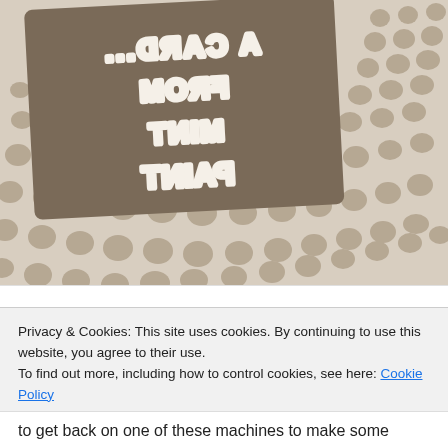[Figure (photo): Close-up photograph of a clay or ceramic tile/cookie with mirrored raised white lettering reading 'A CARD... FROM MINT PAINT' arranged in multiple lines, surrounded by a dotted/polka-dot textured background in cream and brown/grey tones.]
Privacy & Cookies: This site uses cookies. By continuing to use this website, you agree to their use.
To find out more, including how to control cookies, see here: Cookie Policy
Close and accept
to get back on one of these machines to make some